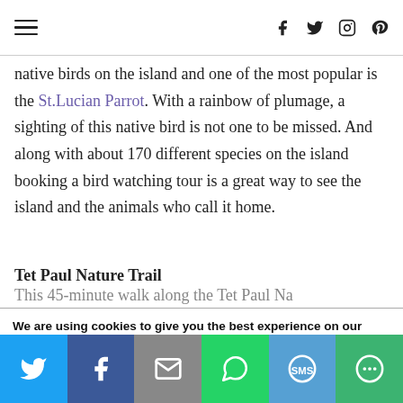≡  f  𝕏  ◎  ⓟ
native birds on the island and one of the most popular is the St.Lucian Parrot. With a rainbow of plumage, a sighting of this native bird is not one to be missed. And along with about 170 different species on the island booking a bird watching tour is a great way to see the island and the animals who call it home.
Tet Paul Nature Trail
This 45-minute walk along the Tet Paul Na...
We are using cookies to give you the best experience on our website.
You can find out more about which cookies we are using or switch them off in settings.
[Figure (infographic): Social share bar with Twitter, Facebook, Email, WhatsApp, SMS, and More buttons]